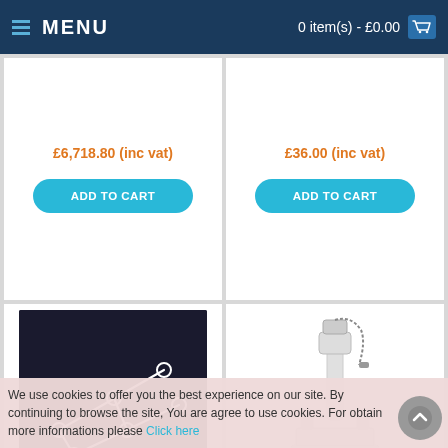≡ MENU   0 item(s) - £0.00 🛒
£6,718.80 (inc vat)
ADD TO CART
£36.00 (inc vat)
ADD TO CART
[Figure (photo): Oxford Side Suspenders (Long Seat) - white wire suspender hooks on dark background]
Oxford Side Suspenders (Long Seat)
£51.00 (ex vat)
£61.20 (inc vat)
[Figure (photo): Mermaid Electric Bath Hoist - End Fit with - white medical bath hoist device on white background]
Mermaid Electric Bath Hoist - End Fit with
£2,744.00 (ex vat)
£3,292.80 (inc vat)
We use cookies to offer you the best experience on our site. By continuing to browse the site, You are agree to use cookies. For obtain more informations please Click here